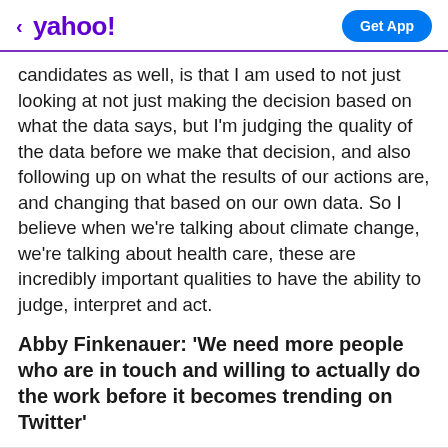< yahoo!  Get App
candidates as well, is that I am used to not just looking at not just making the decision based on what the data says, but I'm judging the quality of the data before we make that decision, and also following up on what the results of our actions are, and changing that based on our own data. So I believe when we're talking about climate change, we're talking about health care, these are incredibly important qualities to have the ability to judge, interpret and act.
Abby Finkenauer: 'We need more people who are in touch and willing to actually do the work before it becomes trending on Twitter'
View comments